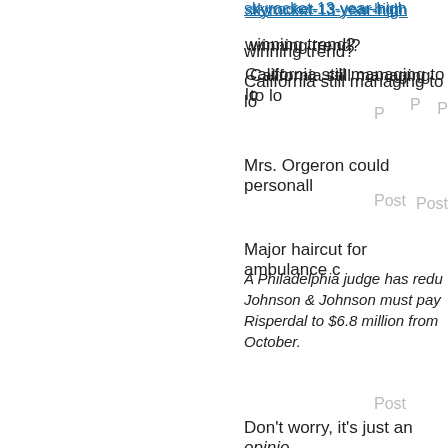skyrocket-13-year-high (link)
winning trend?
California still managing to lo
P
[Figure (photo): Thumbnail photo of a person looking at their phone, sitting on steps with a dog]
Mrs. Orgeron could personall
Post
[Figure (photo): Thumbnail photo of a person sitting on steps with a dog]
Major haircut for ambulance c
A Philadelphia judge has redu Johnson & Johnson must pay Risperdal to $6.8 million from October.
Post
[Figure (photo): Thumbnail photo of a golden retriever dog lying down with eyes closed]
Don't worry, it's just an opinion
https://www.nbcnews.com/
racism-may-be-violating-co